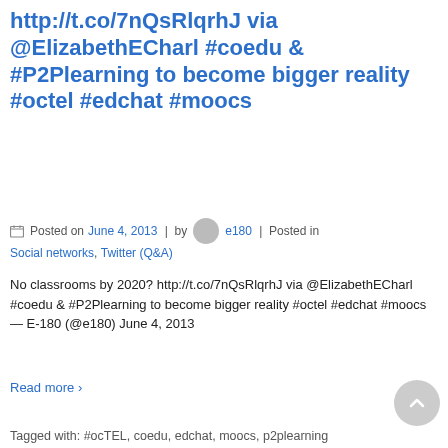http://t.co/7nQsRlqrhJ via @ElizabethECharl #coedu & #P2Plearning to become bigger reality #octel #edchat #moocs
Posted on June 4, 2013 | by e180 | Posted in Social networks, Twitter (Q&A)
No classrooms by 2020? http://t.co/7nQsRlqrhJ via @ElizabethECharl #coedu & #P2Plearning to become bigger reality #octel #edchat #moocs— E-180 (@e180) June 4, 2013
Read more ›
Tagged with: #ocTEL, coedu, edchat, moocs, p2plearning